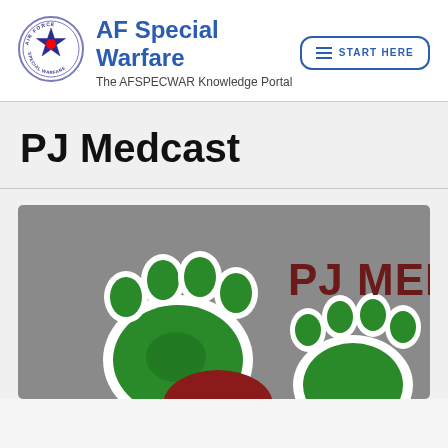[Figure (logo): Air Force Special Warfare circular logo with star and text around the border]
AF Special Warfare
The AFSPECWAR Knowledge Portal
[Figure (other): START HERE button with hamburger menu icon, blue border rounded rectangle]
PJ Medcast
[Figure (photo): Photo showing green bear paw prints logo and text PJ MED on a grey background]